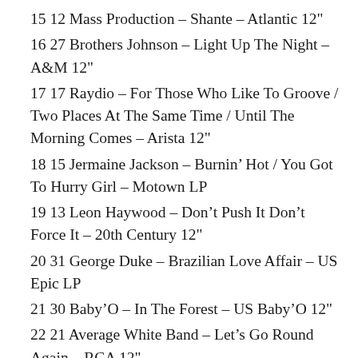15 12 Mass Production – Shante – Atlantic 12"
16 27 Brothers Johnson – Light Up The Night – A&M 12"
17 17 Raydio – For Those Who Like To Groove / Two Places At The Same Time / Until The Morning Comes – Arista 12"
18 15 Jermaine Jackson – Burnin' Hot / You Got To Hurry Girl – Motown LP
19 13 Leon Haywood – Don't Push It Don't Force It – 20th Century 12"
20 31 George Duke – Brazilian Love Affair – US Epic LP
21 30 Baby'O – In The Forest – US Baby'O 12"
22 21 Average White Band – Let's Go Round Again – RCA 12"
23 22 Change – A Lover's Holiday / The Glow Of